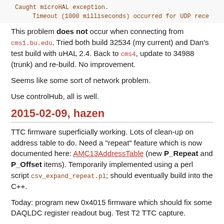Caught microHAL exception.
    Timeout (1000 milliseconds) occurred for UDP rece
This problem does not occur when connecting from cms1.bu.edu. Tried both build 32534 (my current) and Dan's test build with uHAL 2.4. Back to cms4, update to 34988 (trunk) and re-build. No improvement.
Seems like some sort of network problem.
Use controlHub, all is well.
2015-02-09, hazen
TTC firmware superficially working. Lots of clean-up on address table to do. Need a "repeat" feature which is now documented here: AMC13AddressTable (new P_Repeat and P_Offset items). Temporarily implemented using a perl script csv_expand_repeat.pl; should eventually build into the C++.
Today: program new 0x4015 firmware which should fix some DAQLDC register readout bug. Test T2 TTC capture.